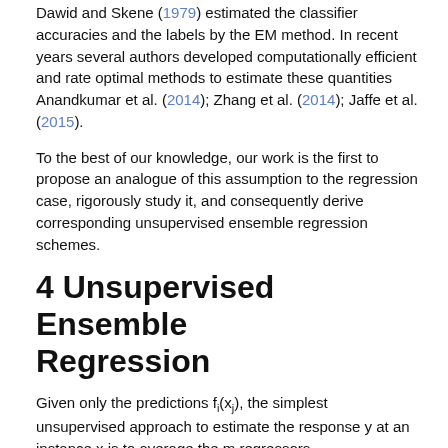Dawid and Skene (1979) estimated the classifier accuracies and the labels by the EM method. In recent years several authors developed computationally efficient and rate optimal methods to estimate these quantities Anandkumar et al. (2014); Zhang et al. (2014); Jaffe et al. (2015).
To the best of our knowledge, our work is the first to propose an analogue of this assumption to the regression case, rigorously study it, and consequently derive corresponding unsupervised ensemble regression schemes.
4 Unsupervised Ensemble Regression
Given only the predictions f_i(x_j), the simplest unsupervised approach to estimate the response y at an instance x is to average the m regressors,